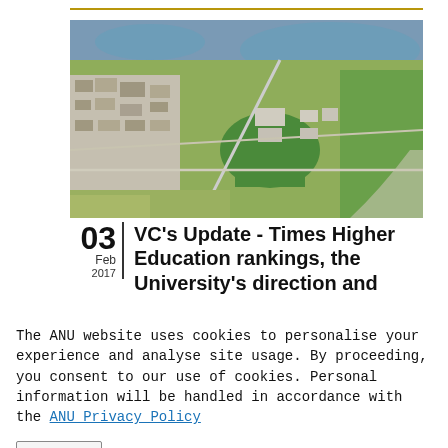[Figure (photo): Aerial photograph of the Australian National University (ANU) campus in Canberra, showing buildings, green fields, and Lake Burley Griffin in the background]
03 Feb 2017 | VC's Update - Times Higher Education rankings, the University's direction and
The ANU website uses cookies to personalise your experience and analyse site usage. By proceeding, you consent to our use of cookies. Personal information will be handled in accordance with the ANU Privacy Policy
Close